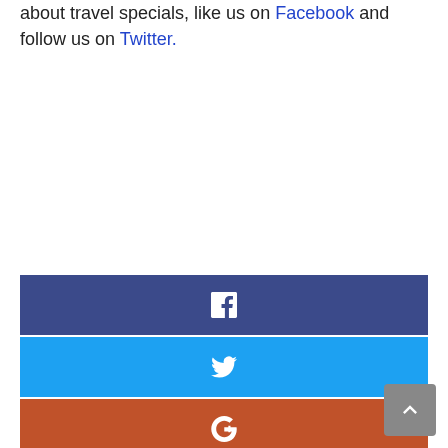about travel specials, like us on Facebook and follow us on Twitter.
[Figure (infographic): Social sharing buttons: Facebook (dark blue), Twitter (light blue), Google+ (orange-red), Pinterest (red), Email (gray)]
Previous article
The Big Zip: Aerial Adventures